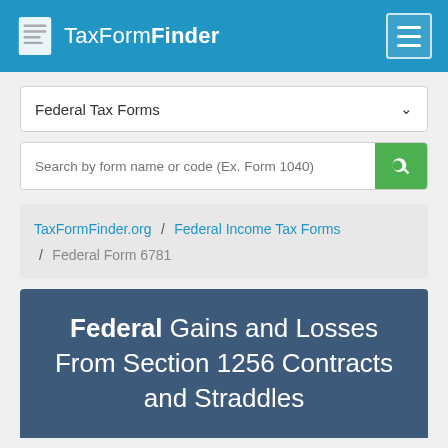TaxFormFinder
Federal Tax Forms
Search by form name or code (Ex. Form 1040)
TaxFormFinder.org / Federal Income Tax Forms / Federal Form 6781
Federal Gains and Losses From Section 1256 Contracts and Straddles